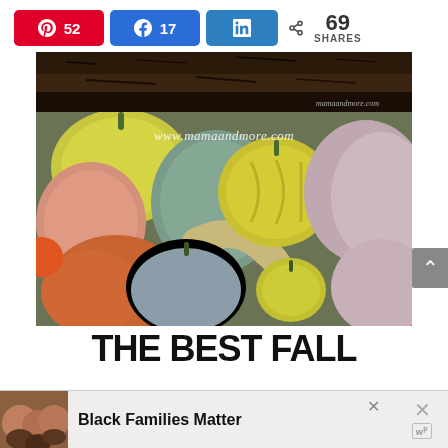[Figure (infographic): Social share bar with Pinterest (52), Facebook (17), LinkedIn buttons and 69 SHARES count]
[Figure (photo): Top banner image showing dark soil/ground with watermark 'mamaandmore.com']
[Figure (photo): Main photo of colorful fall gourds and pumpkins in various colors (orange, yellow, pink, blue-green) with watermark 'www.mamaandmore.com']
THE BEST FALL
[Figure (infographic): Advertisement bar at bottom with photo of three children smiling, text 'Black Families Matter', close button with X and 'w' logo]